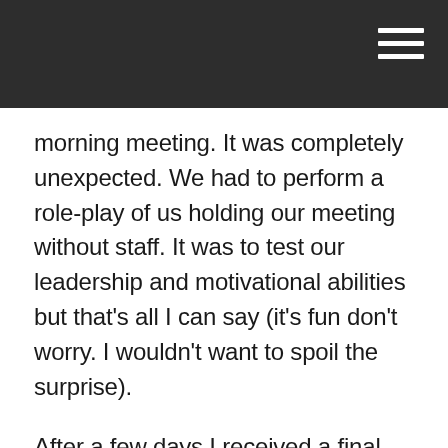morning meeting. It was completely unexpected. We had to perform a role-play of us holding our meeting without staff. It was to test our leadership and motivational abilities but that's all I can say (it's fun don't worry. I wouldn't want to spoil the surprise).
After a few days I received a final call from Ashley. He asked me how I thought the assessment day went and how I thought it could have gone better. At this point I thought I didn't get it and the suspense was slowly killing me. To my surprise, he then, finally, told me that I had made the top ten and that I was invited to the TARGETJobs Undergraduate of